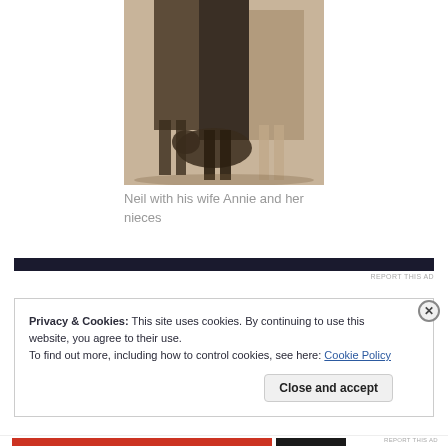[Figure (photo): Old sepia/black-and-white photograph of people standing outdoors, with a dog visible. Partial view showing legs, lower bodies, and a medium-sized dog.]
Neil with his wife Annie and her nieces
Privacy & Cookies: This site uses cookies. By continuing to use this website, you agree to their use.
To find out more, including how to control cookies, see here: Cookie Policy